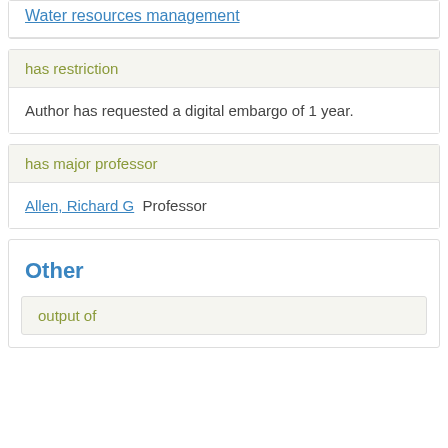Water resources management
has restriction
Author has requested a digital embargo of 1 year.
has major professor
Allen, Richard G  Professor
Other
output of